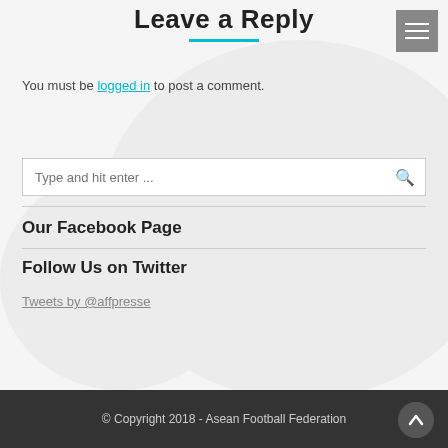Leave a Reply
You must be logged in to post a comment.
Our Facebook Page
Follow Us on Twitter
Tweets by @affpresse
© Copyright 2018 - Asean Football Federation